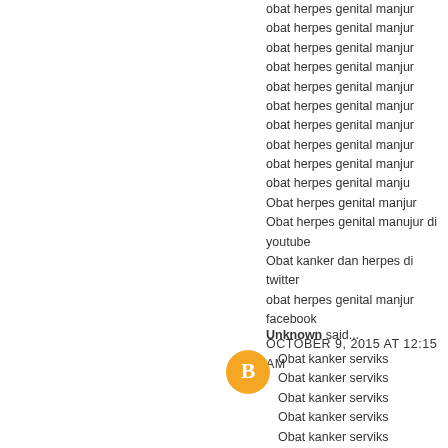obat herpes genital manjur
obat herpes genital manjur
obat herpes genital manjur
obat herpes genital manjur
obat herpes genital manjur
obat herpes genital manjur
obat herpes genital manjur
obat herpes genital manjur
obat herpes genital manjur
obat herpes genital manju
Obat herpes genital manjur
Obat herpes genital manujur di youtube
Obat kanker dan herpes di twitter
obat herpes genital manjur facebook
OCTOBER 9, 2015 AT 12:15 AM
Unknown said...
Obat kanker serviks
Obat kanker serviks
Obat kanker serviks
Obat kanker serviks
Obat kanker serviks
Obat kanker serviks
Obat kanker serviks